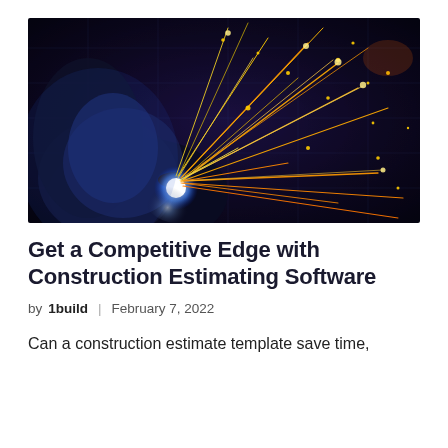[Figure (photo): Close-up photo of a welder working with bright blue-white sparks and orange-gold sparks flying outward against a dark background with faint grid lines overlay. A gloved hand holds a welding tool to the workpiece.]
Get a Competitive Edge with Construction Estimating Software
by 1build | February 7, 2022
Can a construction estimate template save time,